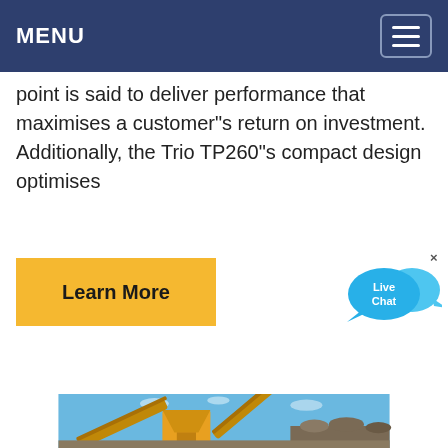MENU
point is said to deliver performance that maximises a customer"s return on investment. Additionally, the Trio TP260"s compact design optimises
[Figure (other): Learn More button - yellow rectangular CTA button with bold black text]
[Figure (other): Live Chat widget - blue speech bubble icon with 'Live Chat' text]
[Figure (photo): Yellow industrial crushing/mining machinery equipment with conveyor belts against a blue sky background]